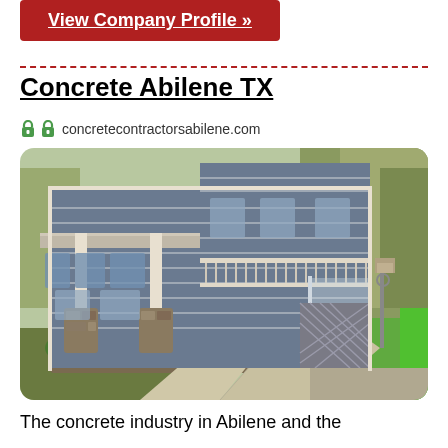View Company Profile »
Concrete Abilene TX
concretecontractorsabilene.com
[Figure (photo): A large grey two-story house with white trim, featuring a covered porch with stone pillars, surrounded by landscaping with a concrete driveway/walkway leading to the right, with trees in the background.]
The concrete industry in Abilene and the